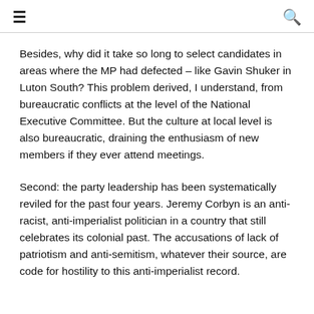≡  🔍
Besides, why did it take so long to select candidates in areas where the MP had defected – like Gavin Shuker in Luton South? This problem derived, I understand, from bureaucratic conflicts at the level of the National Executive Committee. But the culture at local level is also bureaucratic, draining the enthusiasm of new members if they ever attend meetings.
Second: the party leadership has been systematically reviled for the past four years. Jeremy Corbyn is an anti-racist, anti-imperialist politician in a country that still celebrates its colonial past. The accusations of lack of patriotism and anti-semitism, whatever their source, are code for hostility to this anti-imperialist record.